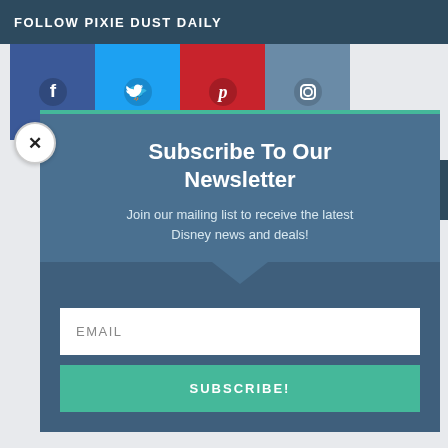FOLLOW PIXIE DUST DAILY
[Figure (infographic): Social media icons bar with Facebook (dark blue), Twitter (light blue), Pinterest (red), and Instagram (slate blue) icons]
Subscribe To Our Newsletter
Join our mailing list to receive the latest Disney news and deals!
EMAIL
SUBSCRIBE!